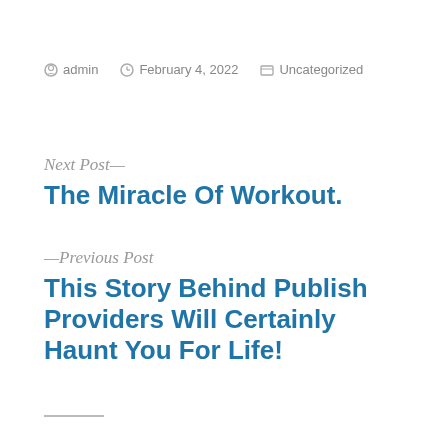admin  February 4, 2022  Uncategorized
Next Post—
The Miracle Of Workout.
—Previous Post
This Story Behind Publish Providers Will Certainly Haunt You For Life!